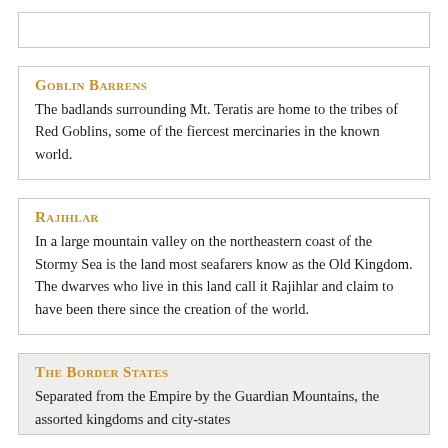(partial top entry — clipped)
Goblin Barrens
The badlands surrounding Mt. Teratis are home to the tribes of Red Goblins, some of the fiercest mercinaries in the known world.
Rajihlar
In a large mountain valley on the northeastern coast of the Stormy Sea is the land most seafarers know as the Old Kingdom. The dwarves who live in this land call it Rajihlar and claim to have been there since the creation of the world.
The Border States
Separated from the Empire by the Guardian Mountains, the assorted kingdoms and city-states